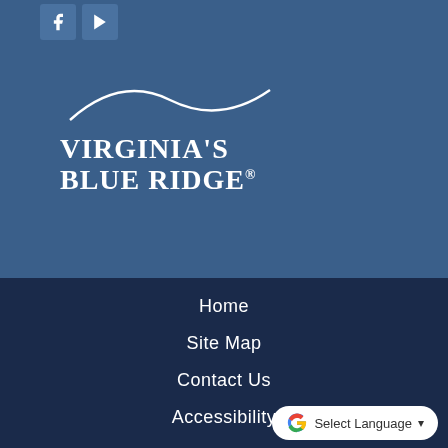[Figure (logo): Virginia's Blue Ridge logo with mountain arc silhouette in white on blue background, with social media icons (Facebook and YouTube) in top left]
Home
Site Map
Contact Us
Accessibility
[Figure (other): Google Translate widget button with Google G logo and 'Select Language' dropdown]